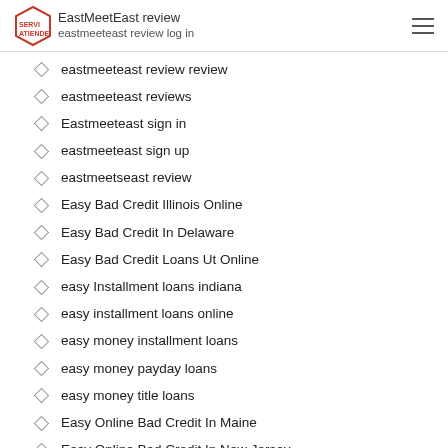EastMeetEast review | eastmeeteast review log in
eastmeeteast review review
eastmeeteast reviews
Eastmeeteast sign in
eastmeeteast sign up
eastmeetseast review
Easy Bad Credit Illinois Online
Easy Bad Credit In Delaware
Easy Bad Credit Loans Ut Online
easy Installment loans indiana
easy installment loans online
easy money installment loans
easy money payday loans
easy money title loans
Easy Online Bad Credit In Maine
Easy Online Bad Credit In New Jersey